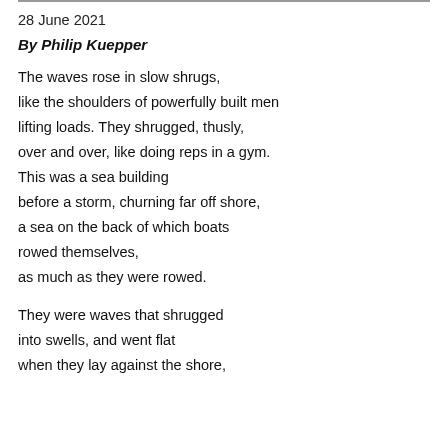28 June 2021
By Philip Kuepper
The waves rose in slow shrugs,
like the shoulders of powerfully built men
lifting loads. They shrugged, thusly,
over and over, like doing reps in a gym.
This was a sea building
before a storm, churning far off shore,
a sea on the back of which boats
rowed themselves,
as much as they were rowed.
They were waves that shrugged
into swells, and went flat
when they lay against the shore,